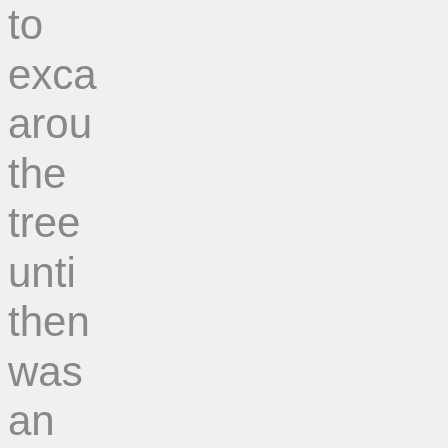to
exca
arou
the
tree
unti
then
was
an
obvi
tree
well
Sticl
my
fing